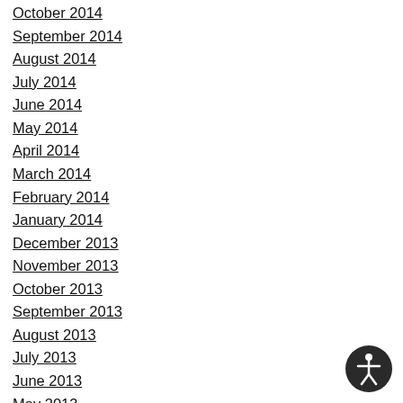October 2014
September 2014
August 2014
July 2014
June 2014
May 2014
April 2014
March 2014
February 2014
January 2014
December 2013
November 2013
October 2013
September 2013
August 2013
July 2013
June 2013
May 2013
April 2013
[Figure (illustration): Accessibility icon — circular badge with a stylized person figure in white on dark background]